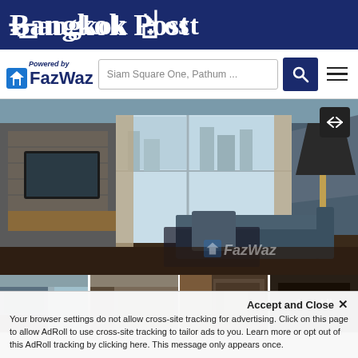Bangkok Post
[Figure (logo): FazWaz logo with 'Powered by' text, search bar showing 'Siam Square One, Pathum ...', search button, and hamburger menu]
[Figure (photo): Interior living room photo of a condominium unit with large windows, city view, sofa, TV wall, and floor lamp. FazWaz watermark visible. Arrow/swap button in top right corner.]
[Figure (photo): Four thumbnail photos of condominium interior rooms. The last thumbnail has a 'See All' overlay.]
Accept and Close ×
Your browser settings do not allow cross-site tracking for advertising. Click on this page to allow AdRoll to use cross-site tracking to tailor ads to you. Learn more or opt out of this AdRoll tracking by clicking here. This message only appears once.